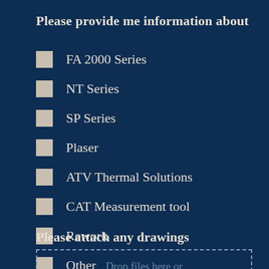Please provide me information about
FA 2000 Series
NT Series
SP Series
Plaser
ATV Thermal Solutions
CAT Measurement tool
Rework
Other
Please attach any drawings
Drop files here or